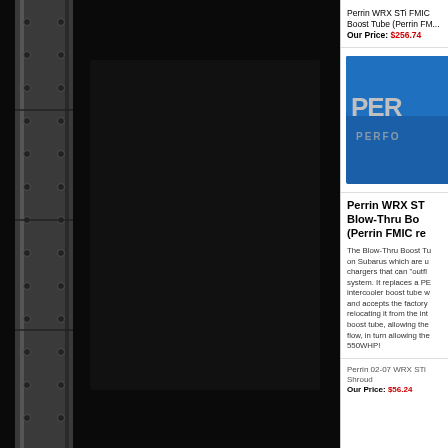[Figure (photo): Dark metallic panel with riveted steel strip running vertically, black background, automotive/industrial styling]
Perrin WRX STi FMIC Boost Tube (Perrin FM...
Our Price: $256.74
[Figure (logo): Perrin Performance logo on blue background, partially visible, cropped on right side]
Perrin WRX STi Blow-Thru Boost Tube (Perrin FMIC re...
The Blow-Thru Boost Tu... on Subarus which are u... chargers that can "outfl... system. It replaces a PE... intercooler boost tube w... and accepts the factory ... relocating it from the int... boost tube, allowing the... flow, in turn allowing the... 550WHP!
Perrin 02-07 WRX STi... Shroud
Our Price: $56.24